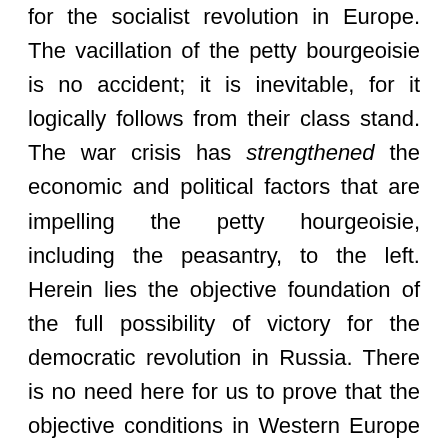for the socialist revolution in Europe. The vacillation of the petty bourgeoisie is no accident; it is inevitable, for it logically follows from their class stand. The war crisis has strengthened the economic and political factors that are impelling the petty hourgeoisie, including the peasantry, to the left. Herein lies the objective foundation of the full possibility of victory for the democratic revolution in Russia. There is no need here for us to prove that the objective conditions in Western Europe are ripe for a socialist revolution; this was admitted before the war by all influential socialists in all advanced countries.